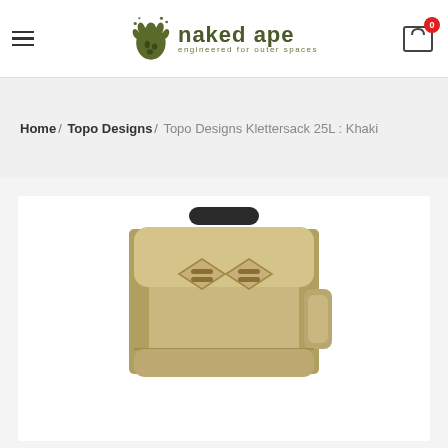naked ape — engineered for outer spaces
Home / Topo Designs / Topo Designs Klettersack 25L : Khaki
[Figure (photo): Product photo of a khaki/beige Topo Designs Klettersack 25L backpack showing top handle and front panel with diamond-shaped lash patches]